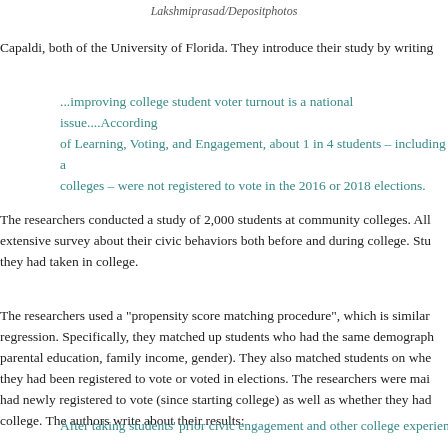Lakshmiprasad/Depositphotos
Capaldi, both of the University of Florida. They introduce their study by writing
...improving college student voter turnout is a national issue....According to the National Study of Learning, Voting, and Engagement, about 1 in 4 students – including a majority of community colleges – were not registered to vote in the 2016 or 2018 elections.
The researchers conducted a study of 2,000 students at community colleges. All students completed an extensive survey about their civic behaviors both before and during college. Students also reported the courses they had taken in college.
The researchers used a "propensity score matching procedure", which is similar to a multiple regression. Specifically, they matched up students who had the same demographic characteristics (race, parental education, family income, gender). They also matched students on whether before starting college, they had been registered to vote or voted in elections. The researchers were mainly interested in whether students had newly registered to vote (since starting college) as well as whether they had voted since starting college. The authors write about their results:
After taking students' prior civic engagement and other college experience